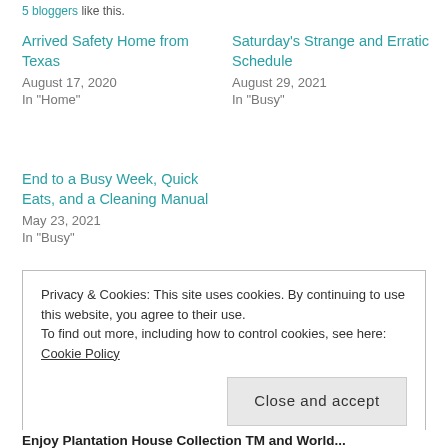5 bloggers like this.
Arrived Safety Home from Texas
August 17, 2020
In "Home"
Saturday's Strange and Erratic Schedule
August 29, 2021
In "Busy"
End to a Busy Week, Quick Eats, and a Cleaning Manual
May 23, 2021
In "Busy"
Privacy & Cookies: This site uses cookies. By continuing to use this website, you agree to their use.
To find out more, including how to control cookies, see here: Cookie Policy
Close and accept
Enjoy Plantation House Collection TM and World...